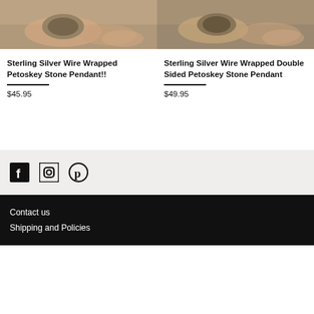[Figure (photo): Photo of a hand holding a Petoskey stone pendant, top portion visible]
[Figure (photo): Photo of a hand holding a double sided Petoskey stone pendant, top portion visible]
Sterling Silver Wire Wrapped Petoskey Stone Pendant!!
$45.95
Sterling Silver Wire Wrapped Double Sided Petoskey Stone Pendant
$49.95
[Figure (infographic): Social media icons: Facebook, Instagram, Pinterest]
Contact us
Shipping and Policies